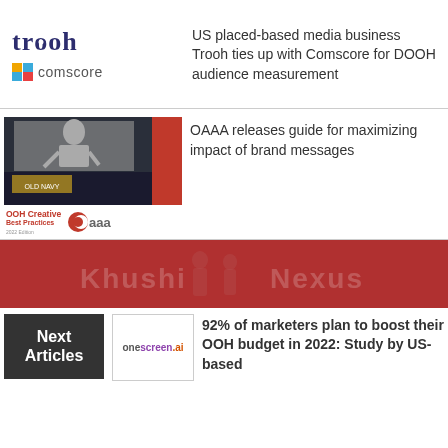[Figure (logo): Trooh logo in dark navy/indigo serif bold text, and Comscore logo with colorful square icon]
US placed-based media business Trooh ties up with Comscore for DOOH audience measurement
[Figure (photo): Night-time billboard photo with a man on a large screen, Old Navy sign visible, city street scene. Red rectangle accent block to the right. OOH Creative Best Practices booklet and OAAA logo below.]
OAAA releases guide for maximizing impact of brand messages
[Figure (illustration): Red banner with faint watermark text Khushi and Nexus]
[Figure (logo): Dark grey box with Next Articles text in white, and onescreen.ai logo box beside it]
92% of marketers plan to boost their OOH budget in 2022: Study by US-based